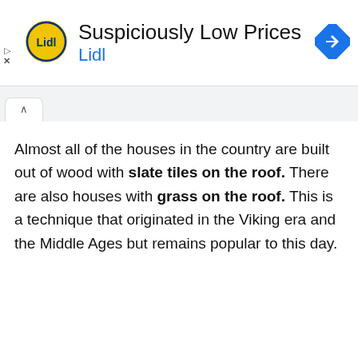[Figure (screenshot): Lidl advertisement banner with Lidl logo (yellow circle with blue Lidl text), ad title 'Suspiciously Low Prices', brand name 'Lidl' in blue, and a blue diamond navigation icon on the right]
[Figure (screenshot): Browser tab bar showing a single tab with chevron/caret up icon]
Almost all of the houses in the country are built out of wood with slate tiles on the roof. There are also houses with grass on the roof. This is a technique that originated in the Viking era and the Middle Ages but remains popular to this day.